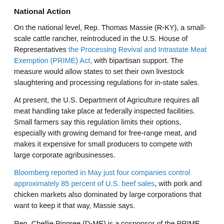National Action
On the national level, Rep. Thomas Massie (R-KY), a small-scale cattle rancher, reintroduced in the U.S. House of Representatives the Processing Revival and Intrastate Meat Exemption (PRIME) Act, with bipartisan support. The measure would allow states to set their own livestock slaughtering and processing regulations for in-state sales.
At present, the U.S. Department of Agriculture requires all meat handling take place at federally inspected facilities. Small farmers say this regulation limits their options, especially with growing demand for free-range meat, and makes it expensive for small producers to compete with large corporate agribusinesses.
Bloomberg reported in May just four companies control approximately 85 percent of U.S. beef sales, with pork and chicken markets also dominated by large corporations that want to keep it that way, Massie says.
Rep. Chellie Pingree (D-ME) is a cosponsor of the PRIME Act,